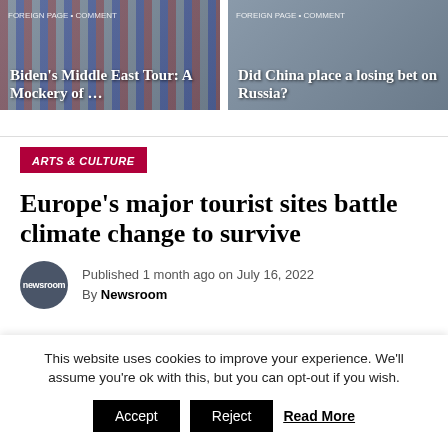[Figure (photo): Two news article thumbnails side by side. Left: 'Biden's Middle East Tour: A Mockery of ...' with US flags in background. Right: 'Did China place a losing bet on Russia?' with political figures.]
Biden's Middle East Tour: A Mockery of ...
Did China place a losing bet on Russia?
ARTS & CULTURE
Europe's major tourist sites battle climate change to survive
Published 1 month ago on July 16, 2022
By Newsroom
This website uses cookies to improve your experience. We'll assume you're ok with this, but you can opt-out if you wish.